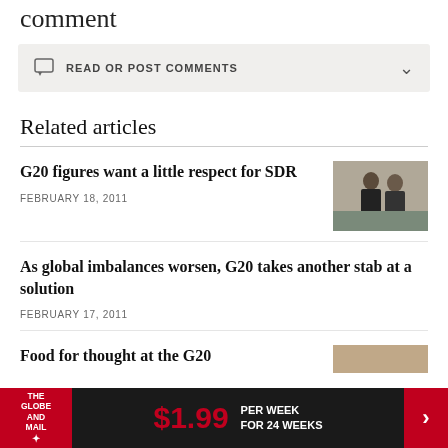comment
READ OR POST COMMENTS
Related articles
G20 figures want a little respect for SDR
FEBRUARY 18, 2011
[Figure (photo): Two men in suits, one waving, outside a building]
As global imbalances worsen, G20 takes another stab at a solution
FEBRUARY 17, 2011
Food for thought at the G20
[Figure (photo): Partially visible photo thumbnail]
$1.99 PER WEEK FOR 24 WEEKS